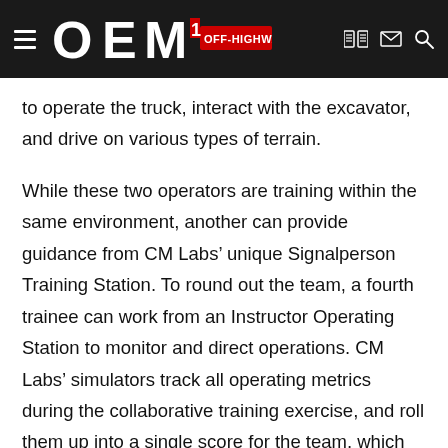OEM OFF-HIGHWAY
to operate the truck, interact with the excavator, and drive on various types of terrain.
While these two operators are training within the same environment, another can provide guidance from CM Labs’ unique Signalperson Training Station. To round out the team, a fourth trainee can work from an Instructor Operating Station to monitor and direct operations. CM Labs’ simulators track all operating metrics during the collaborative training exercise, and roll them up into a single score for the team, which updates in real time.
CM Labs’ catalog of crew training capabilities also includes the industry’s only simulation-based tandem lift exercises for